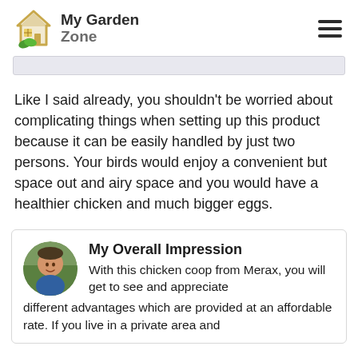[Figure (logo): My Garden Zone logo with house icon and green leaves]
Like I said already, you shouldn't be worried about complicating things when setting up this product because it can be easily handled by just two persons. Your birds would enjoy a convenient but space out and airy space and you would have a healthier chicken and much bigger eggs.
My Overall Impression
With this chicken coop from Merax, you will get to see and appreciate different advantages which are provided at an affordable rate. If you live in a private area and